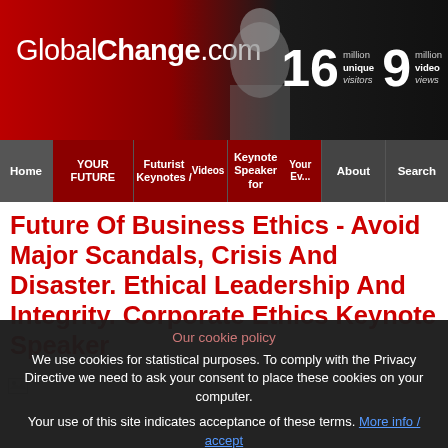GlobalChange.com — 16 million unique visitors 9 million video views
[Figure (screenshot): Navigation menu bar with items: Home, YOUR FUTURE, Futurist Keynotes / Videos, Keynote Speaker for Your Event, About, Search]
Future Of Business Ethics - Avoid Major Scandals, Crisis And Disaster. Ethical Leadership And Integrity. Corporate Ethics Keynote Speaker
[Figure (photo): Broken image placeholder icon]
Our cookie policy
We use cookies for statistical purposes. To comply with the Privacy Directive we need to ask your consent to place these cookies on your computer.
Your use of this site indicates acceptance of these terms. More info / accept